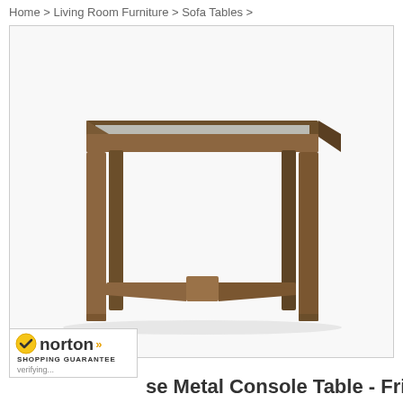Home > Living Room Furniture > Sofa Tables >
[Figure (photo): Product photo of a metal console table with a glass top and dark bronze/brown metal frame with cross-bar stretcher base, photographed on a white background.]
[Figure (logo): Norton Shopping Guarantee badge with yellow checkmark, bold 'norton' text and double chevron arrows, 'SHOPPING GUARANTEE' subtitle, and 'verifying...' text at the bottom.]
se Metal Console Table - Frisk